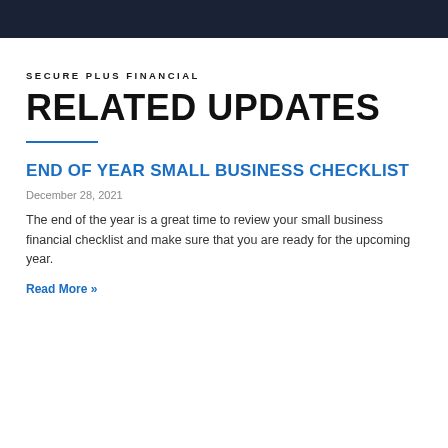SECURE PLUS FINANCIAL
RELATED UPDATES
END OF YEAR SMALL BUSINESS CHECKLIST
December 28, 2021
The end of the year is a great time to review your small business financial checklist and make sure that you are ready for the upcoming year.
Read More »